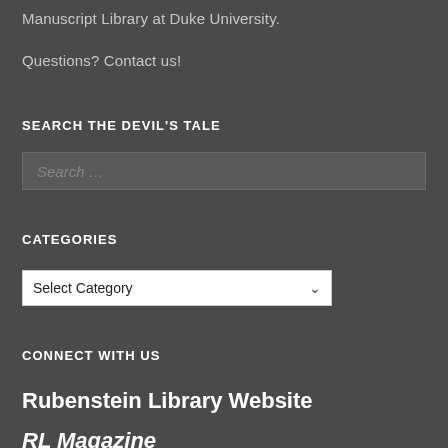Manuscript Library at Duke University.
Questions? Contact us!
SEARCH THE DEVIL'S TALE
[Figure (screenshot): Search input box with placeholder text 'Search ...']
CATEGORIES
[Figure (screenshot): Dropdown select box showing 'Select Category' with a chevron arrow]
CONNECT WITH US
Rubenstein Library Website
RL Magazine